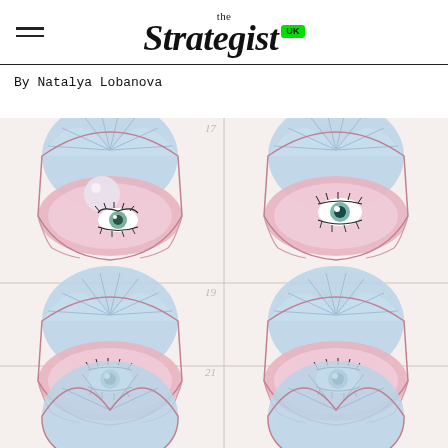the Strategist UK
By Natalya Lobanova
[Figure (illustration): A grid of surrealist illustrations showing open clam/oyster shells with eyes and eyelashes inside them. The shells are pink and red on the outside with pale blue/white interior fans. Some images also show a pearl. Numbers are faintly visible in pencil (17, 18, 19, 20, 21, 22) suggesting these are frames from an animation or storyboard sequence. Four complete frames visible plus two partial at bottom.]